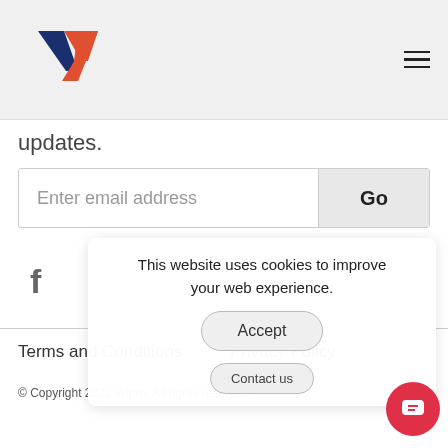[Figure (logo): Wipro W logo: navy blue left stroke and orange right V stroke forming a W shape]
updates.
Enter email address
Go
f
This website uses cookies to improve your web experience.
Accept
Contact us
Terms and Conditions
Privacy Policy
© Copyright 2021 Wipro. All rights reserved.